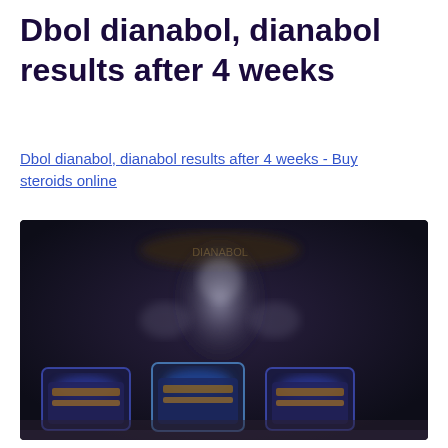Dbol dianabol, dianabol results after 4 weeks
Dbol dianabol, dianabol results after 4 weeks - Buy steroids online
[Figure (photo): Blurred dark background image showing a muscular figure silhouette with three product containers visible at the bottom, depicting supplement or steroid products.]